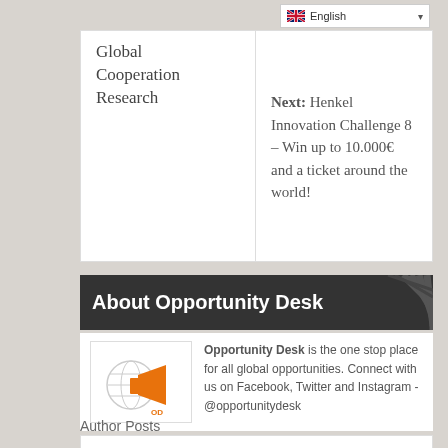Global Cooperation Research
Next: Henkel Innovation Challenge 8 – Win up to 10.000€ and a ticket around the world!
About Opportunity Desk
[Figure (logo): Opportunity Desk logo — orange arrow/megaphone with globe graphic]
Opportunity Desk is the one stop place for all global opportunities. Connect with us on Facebook, Twitter and Instagram - @opportunitydesk
Author Posts